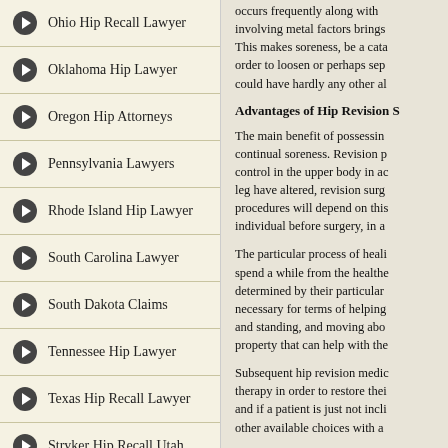Ohio Hip Recall Lawyer
Oklahoma Hip Lawyer
Oregon Hip Attorneys
Pennsylvania Lawyers
Rhode Island Hip Lawyer
South Carolina Lawyer
South Dakota Claims
Tennessee Hip Lawyer
Texas Hip Recall Lawyer
Stryker Hip Recall Utah
Vermont Hip Lawyer
occurs frequently along with involving metal factors brings This makes soreness, be a cata order to loosen or perhaps sep could have hardly any other al
Advantages of Hip Revision S
The main benefit of possessin continual soreness. Revision p control in the upper body in a leg have altered, revision surg procedures will depend on thi individual before surgery, in a
The particular process of heal spend a while from the health determined by their particular necessary for terms of helping and standing, and moving abo property that can help with the
Subsequent hip revision medi therapy in order to restore the and if a patient is just not incl other available choices with a